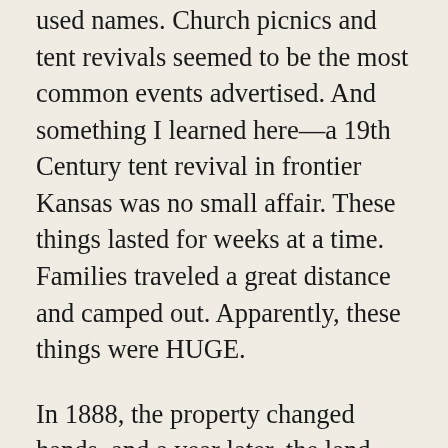used names. Church picnics and tent revivals seemed to be the most common events advertised. And something I learned here—a 19th Century tent revival in frontier Kansas was no small affair. These things lasted for weeks at a time. Families traveled a great distance and camped out. Apparently, these things were HUGE.
In 1888, the property changed hands, and a year later, the land was surveyed and it was reported that after some pieces had been sold off, 18-acres still remained intact. Sewer services were added and a road was put in to provide better access. Community picnics, Church functions, and tent revivals remained